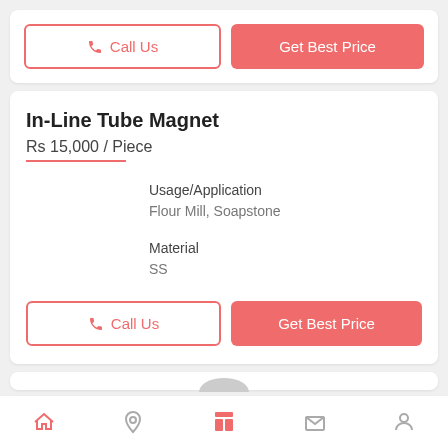[Figure (screenshot): Top card with Call Us and Get Best Price buttons]
In-Line Tube Magnet
Rs 15,000 / Piece
| Usage/Application | Flour Mill, Soapstone |
| Material | SS |
[Figure (screenshot): Bottom card with Call Us and Get Best Price buttons]
Bottom navigation bar with home, location, menu, mail, and profile icons